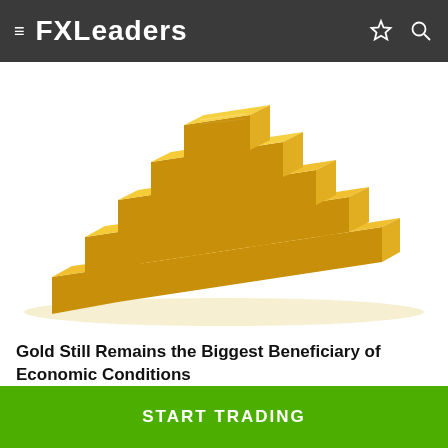FXLeaders
[Figure (photo): Pyramid-stacked gold bullion bars on white background]
Gold Still Remains the Biggest Beneficiary of Economic Conditions
3 weeks ago
START TRADING